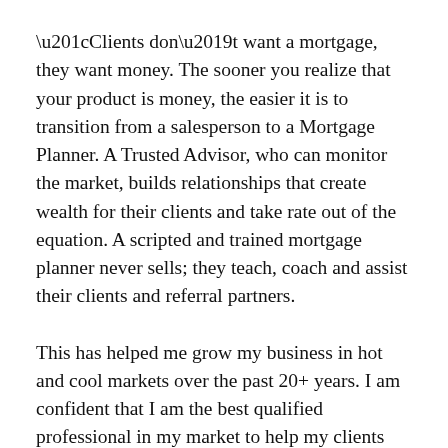“Clients don’t want a mortgage, they want money. The sooner you realize that your product is money, the easier it is to transition from a salesperson to a Mortgage Planner. A Trusted Advisor, who can monitor the market, builds relationships that create wealth for their clients and take rate out of the equation. A scripted and trained mortgage planner never sells; they teach, coach and assist their clients and referral partners.
This has helped me grow my business in hot and cool markets over the past 20+ years. I am confident that I am the best qualified professional in my market to help my clients manage their mortgage as a financial tool as well as offer market advice. I think the best mortgage professionals push themselves to gain the knowledge and training that helps them feel that they are the most educated and